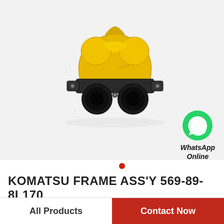[Figure (photo): Komatsu frame assembly part 569-89-8L170, a yellow cast metal manifold/frame part with two black cylindrical openings at the bottom, photographed on a light grey background.]
[Figure (logo): WhatsApp green circle logo with a white telephone handset icon, with text 'WhatsApp Online' below it in bold italic.]
KOMATSU FRAME ASS'Y 569-89-8L170
All Products
Contact Now